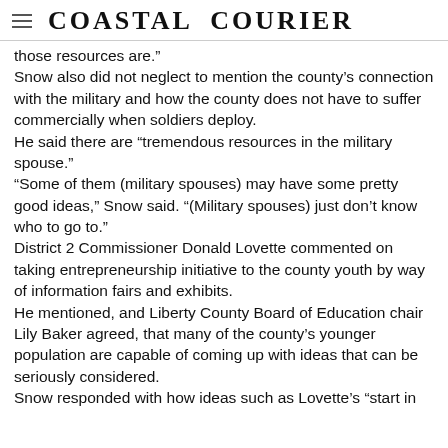Coastal Courier
those resources are.”
Snow also did not neglect to mention the county’s connection with the military and how the county does not have to suffer commercially when soldiers deploy.
He said there are “tremendous resources in the military spouse.”
“Some of them (military spouses) may have some pretty good ideas,” Snow said. “(Military spouses) just don’t know who to go to.”
District 2 Commissioner Donald Lovette commented on taking entrepreneurship initiative to the county youth by way of information fairs and exhibits.
He mentioned, and Liberty County Board of Education chair Lily Baker agreed, that many of the county’s younger population are capable of coming up with ideas that can be seriously considered.
Snow responded with how ideas such as Lovette’s “start in